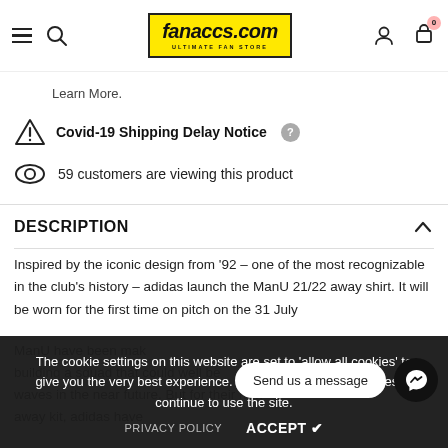fanaccs.com — ULTIMATE FAN STORE (navigation header with menu, search, logo, account, cart)
Learn More.
Covid-19 Shipping Delay Notice
59 customers are viewing this product
DESCRIPTION
Inspired by the iconic design from '92 – one of the most recognizable in the club's history – adidas launch the ManU 21/22 away shirt. It will be worn for the first time on pitch on the 31 July wh... ManU have been mak... building a squad that could well be... waves in the near future. But for their new away kit, adidas have
The cookie settings on this website are set to 'allow all cookies' to give you the very best experience. Please click Accept Cookies to continue to use the site.
Send us a message
PRIVACY POLICY   ACCEPT ✔